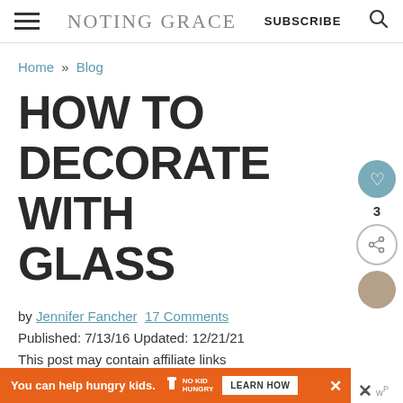NOTING GRACE | SUBSCRIBE
Home » Blog
HOW TO DECORATE WITH GLASS
by Jennifer Fancher 17 Comments
Published: 7/13/16 Updated: 12/21/21
This post may contain affiliate links
[Figure (other): Orange advertisement banner: 'You can help hungry kids. No Kid Hungry. LEARN HOW']